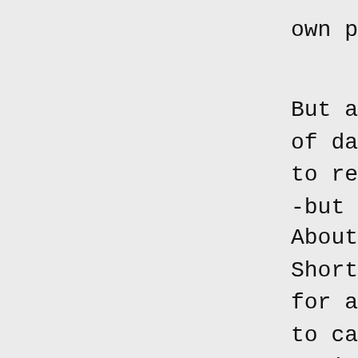own p
But a
of da
to re
-but
About
Short
for a
to ca
In it
of sp
it wa
with